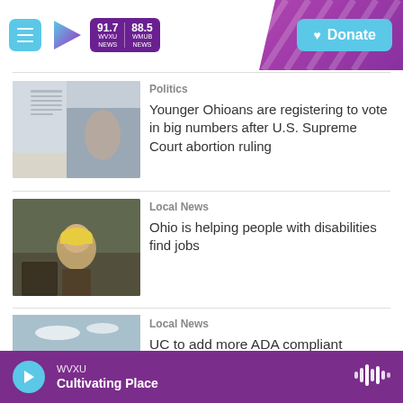WVXU 91.7 NEWS | WMUB 88.5 NEWS — Donate
[Figure (photo): Hands holding documents, voting papers, blurred office background]
Politics
Younger Ohioans are registering to vote in big numbers after U.S. Supreme Court abortion ruling
[Figure (photo): Worker wearing yellow hard hat smiling at camera in a workshop setting]
Local News
Ohio is helping people with disabilities find jobs
[Figure (photo): Aerial view of a stadium and cityscape under a partly cloudy sky]
Local News
UC to add more ADA compliant
WVXU — Cultivating Place